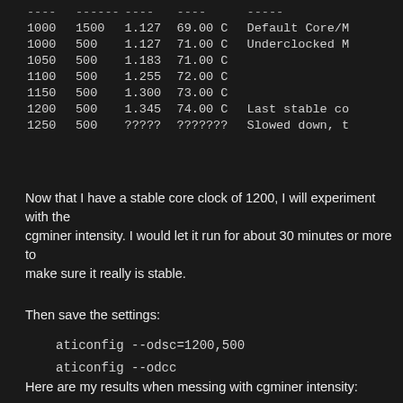| ---- | ------ | ---- | ---- | ----- |
| --- | --- | --- | --- | --- |
| 1000 | 1500 | 1.127 | 69.00 C | Default Core/M |
| 1000 | 500 | 1.127 | 71.00 C | Underclocked M |
| 1050 | 500 | 1.183 | 71.00 C |  |
| 1100 | 500 | 1.255 | 72.00 C |  |
| 1150 | 500 | 1.300 | 73.00 C |  |
| 1200 | 500 | 1.345 | 74.00 C | Last stable co |
| 1250 | 500 | ????? | ??????? | Slowed down, t |
Now that I have a stable core clock of 1200, I will experiment with the cgminer intensity. I would let it run for about 30 minutes or more to make sure it really is stable.
Then save the settings:
aticonfig --odsc=1200,500
aticonfig --odcc
Here are my results when messing with cgminer intensity: